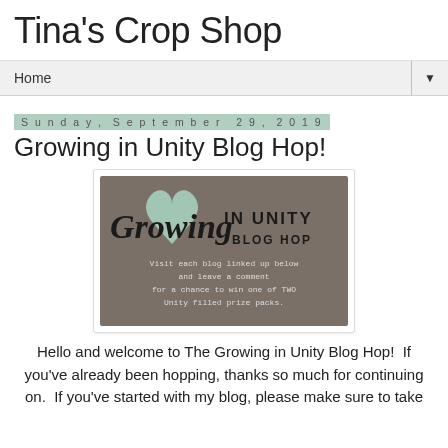Tina's Crop Shop
Home
Sunday, September 29, 2019
Growing in Unity Blog Hop!
[Figure (illustration): Growing in Unity Blog Hop banner image on a gray-brown background with a mint green heart, decorative script 'Growing' text, 'IN UNITY BLOG HOP' in bold, and text reading 'Visit each blog linked up below and leave a comment for a chance to win one of TWO Unity filled prize packs.']
Hello and welcome to The Growing in Unity Blog Hop!  If you've already been hopping, thanks so much for continuing on.  If you've started with my blog, please make sure to take a look at the list of links below so you can continue on.